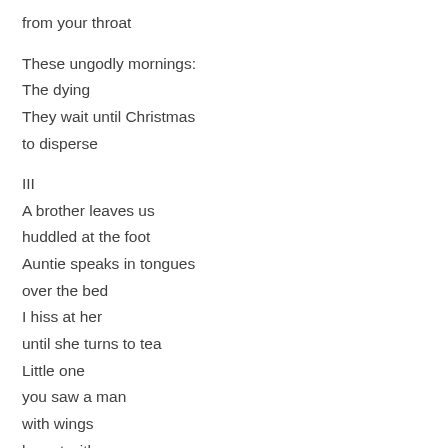from your throat
These ungodly mornings:
The dying
They wait until Christmas
to disperse
III
A brother leaves us
huddled at the foot
Auntie speaks in tongues
over the bed
I hiss at her
until she turns to tea
Little one
you saw a man
with wings
he sat with you
and counted beads
on your rosary
only